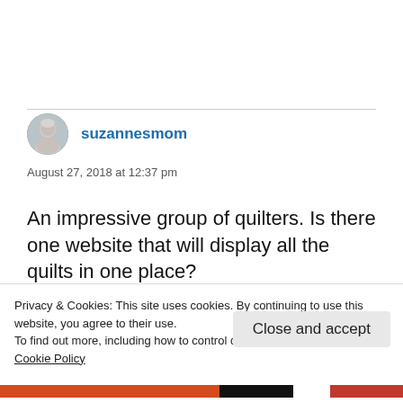[Figure (photo): Avatar photo of user suzannesmom — a small circular profile picture showing an older woman with white/gray hair]
suzannesmom
August 27, 2018 at 12:37 pm
An impressive group of quilters. Is there one website that will display all the quilts in one place?
Privacy & Cookies: This site uses cookies. By continuing to use this website, you agree to their use.
To find out more, including how to control cookies, see here:
Cookie Policy
Close and accept